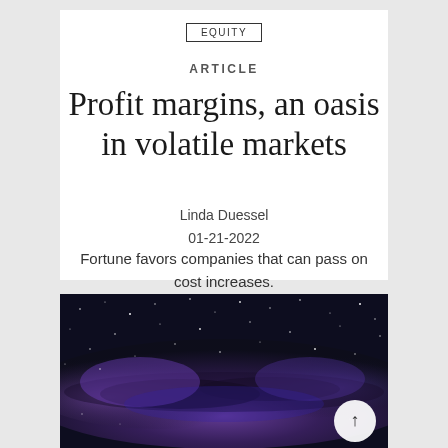EQUITY
ARTICLE
Profit margins, an oasis in volatile markets
Linda Duessel
01-21-2022
Fortune favors companies that can pass on cost increases.
[Figure (photo): Night sky photograph showing the Milky Way galaxy with purple and blue hues, stars and cosmic dust visible across the frame.]